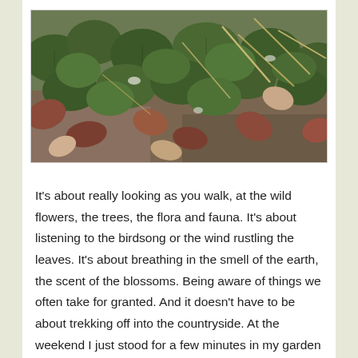[Figure (photo): Close-up photograph of ivy leaves, dried brown leaves, and dead grass/twigs on a garden ground, taken in natural daylight.]
It's about really looking as you walk, at the wild flowers, the trees, the flora and fauna. It's about listening to the birdsong or the wind rustling the leaves. It's about breathing in the smell of the earth, the scent of the blossoms. Being aware of things we often take for granted. And it doesn't have to be about trekking off into the countryside. At the weekend I just stood for a few minutes in my garden and listened and watched nature unfolding around me. It was amazing how much I saw and heard, and even smelled that I might have missed had I not been really focused on that experience rather than on the tangle of my latest plot line. I saw blue tits vying for the bird feeder, blackbirds pecking on the grass, robins